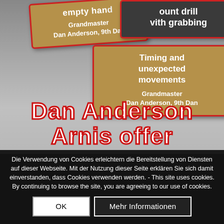[Figure (screenshot): Screenshot of a martial arts DVD/video website showing book/video cover cards for Dan Anderson Arnis instructional content. Two partly visible cards at top: one showing 'empty han...' and 'Grandmaster Dan Anderson, 9th Dan', another showing '...ount drill with grabbing'. A third card shows 'Timing and unexpected movements' by 'Grandmaster Dan Anderson, 9th Dan'. Large red-outlined white text reads 'Dan Anderson Arnis offer'.]
Die Verwendung von Cookies erleichtern die Bereitstellung von Diensten auf dieser Webseite. Mit der Nutzung dieser Seite erklären Sie sich damit einverstanden, dass Cookies verwenden werden. - This site uses cookies. By continuing to browse the site, you are agreeing to our use of cookies.
OK
Mehr Informationen